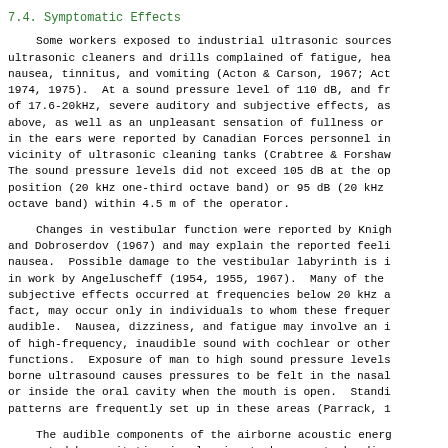7.4.  Symptomatic Effects
Some workers exposed to industrial ultrasonic sources ultrasonic cleaners and drills complained of fatigue, hea nausea, tinnitus, and vomiting (Acton & Carson, 1967; Act 1974, 1975).  At a sound pressure level of 110 dB, and fr of 17.6-20kHz, severe auditory and subjective effects, as above, as well as an unpleasant sensation of fullness or in the ears were reported by Canadian Forces personnel in vicinity of ultrasonic cleaning tanks (Crabtree & Forshaw The sound pressure levels did not exceed 105 dB at the op position (20 kHz one-third octave band) or 95 dB (20 kHz octave band) within 4.5 m of the operator.
Changes in vestibular function were reported by Knigh and Dobroserdov (1967) and may explain the reported feeli nausea.  Possible damage to the vestibular labyrinth is in work by Angeluscheff (1954, 1955, 1967).  Many of the subjective effects occurred at frequencies below 20 kHz a fact, may occur only in individuals to whom these frequer audible.  Nausea, dizziness, and fatigue may involve an of high-frequency, inaudible sound with cochlear or other functions.  Exposure of man to high sound pressure levels borne ultrasound causes pressures to be felt in the nasal or inside the oral cavity when the mouth is open.  Stand patterns are frequently set up in these areas (Parrack,
The audible components of the airborne acoustic energ generated by cavitation in cleaning tanks seem to be dire related to subjective complaints, including fatigue and